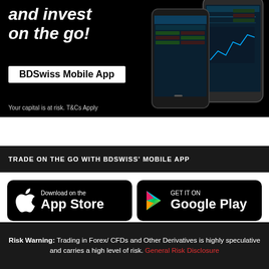[Figure (illustration): BDSwiss mobile app advertisement banner showing two smartphones with trading app screens against a black background, with bold white italic text 'and invest on the go!' and a white box labeled 'BDSwiss Mobile App', and disclaimer 'Your capital is at risk. T&Cs Apply']
TRADE ON THE GO WITH BDSWISS' MOBILE APP
[Figure (logo): Apple App Store download button - black rounded rectangle with Apple logo and text 'Download on the App Store']
[Figure (logo): Google Play download button - black rounded rectangle with Google Play triangle logo and text 'GET IT ON Google Play']
Risk Warning: Trading in Forex/ CFDs and Other Derivatives is highly speculative and carries a high level of risk. General Risk Disclosure